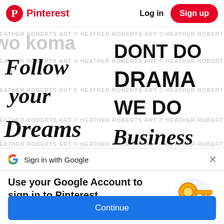Pinterest  Log in  Sign up
[Figure (screenshot): Decorative text art image showing motivational quotes: 'Follow your Dreams' in script font and 'DONT DO DRAMA WE DO Business' in bold sans-serif font, with watermark text 'HEATHER ROBERTS ART' repeated across the image.]
Sign in with Google
Use your Google Account to sign in to Pinterest
No more passwords to remember. Signing in is fast, simple and secure.
Continue